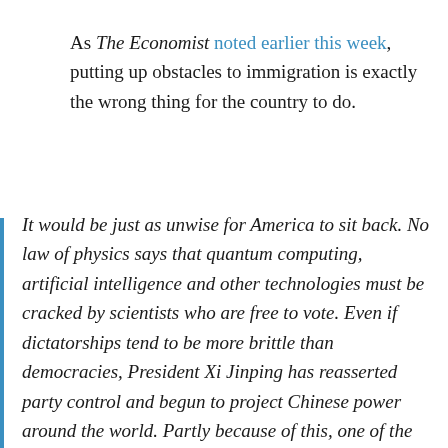As The Economist noted earlier this week, putting up obstacles to immigration is exactly the wrong thing for the country to do.
It would be just as unwise for America to sit back. No law of physics says that quantum computing, artificial intelligence and other technologies must be cracked by scientists who are free to vote. Even if dictatorships tend to be more brittle than democracies, President Xi Jinping has reasserted party control and begun to project Chinese power around the world. Partly because of this, one of the very few beliefs which unite Republicans and Democrats is that America must act against China. But how?